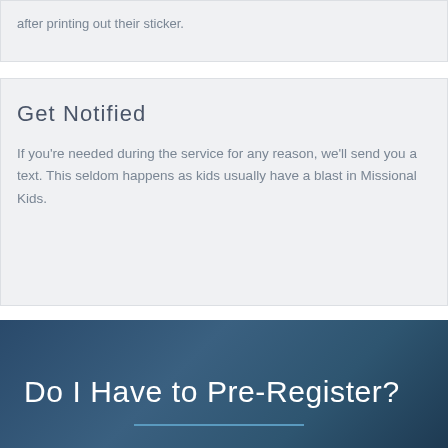after printing out their sticker.
Get Notified
If you're needed during the service for any reason, we'll send you a text. This seldom happens as kids usually have a blast in Missional Kids.
Do I Have to Pre-Register?